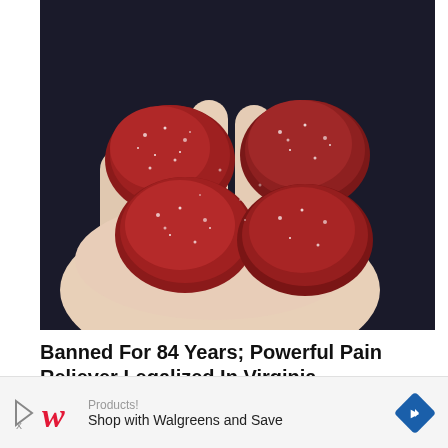[Figure (photo): A hand holding several dark red sugary gummy candies with a sparkling/crystallized sugar coating, photographed against a dark background.]
Banned For 84 Years; Powerful Pain Reliever Legalized In Virginia
Health Headlines
[Figure (logo): Walgreens advertisement bar at bottom: 'Products!' text, Walgreens 'W' logo, play/close button, text 'Shop with Walgreens and Save', blue diamond arrow button.]